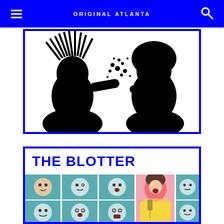ORIGINAL ATLANTA
[Figure (illustration): Black and white illustration showing silhouettes of two people with natural/dreadlocked hair facing each other]
THE BLOTTER
[Figure (illustration): Colorful illustrated grid of cartoon faces on teal/blue backgrounds, with a large central figure of a woman in pink and yellow holding a telephone]